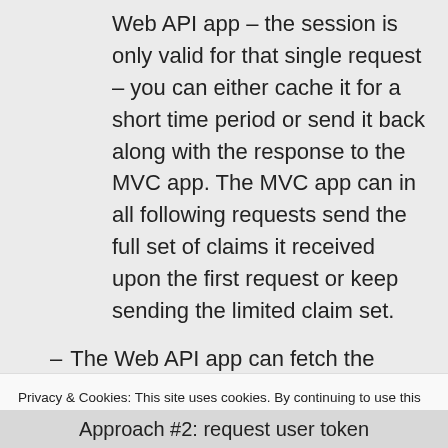Web API app – the session is only valid for that single request – you can either cache it for a short time period or send it back along with the response to the MVC app. The MVC app can in all following requests send the full set of claims it received upon the first request or keep sending the limited claim set.
The Web API app can fetch the
Privacy & Cookies: This site uses cookies. By continuing to use this website, you agree to their use.
To find out more, including how to control cookies, see here: Cookie Policy
Approach #2: request user token